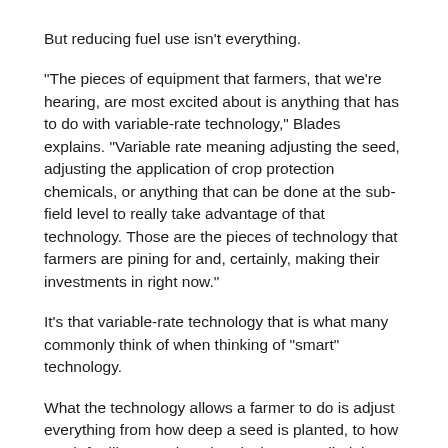But reducing fuel use isn't everything.
“The pieces of equipment that farmers, that we’re hearing, are most excited about is anything that has to do with variable-rate technology,” Blades explains. “Variable rate meaning adjusting the seed, adjusting the application of crop protection chemicals, or anything that can be done at the sub-field level to really take advantage of that technology. Those are the pieces of technology that farmers are pining for and, certainly, making their investments in right now.”
It’s that variable-rate technology that is what many commonly think of when thinking of “smart” technology.
What the technology allows a farmer to do is adjust everything from how deep a seed is planted, to how much fertilizer or other chemicals are applied, in some cases, to a nearly plant-by-plant basis.
Equipment manufacturers have already reduced pesticide applications by 30 million pounds per year. This has been